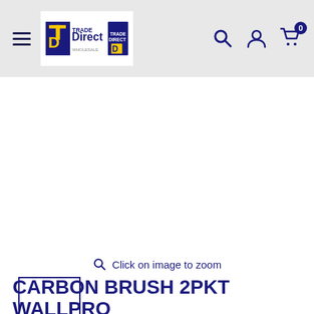Trade Direct Wholesale — navigation header with logo, search, account, and cart icons
[Figure (screenshot): Empty white product image area with 'Click on image to zoom' prompt and a small thumbnail image box with a blue border below]
CARBON BRUSH 2PKT WALLPRO